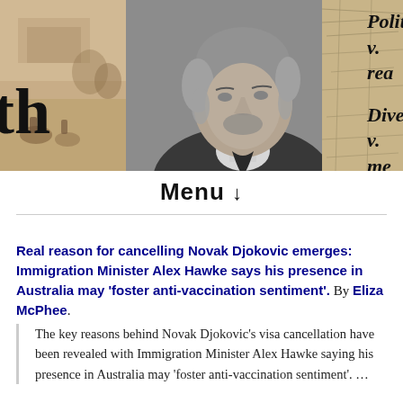[Figure (illustration): Banner with three panels: left panel shows a historical scene with partial bold text 'th', center panel shows a black-and-white portrait of a 19th-century man, right panel shows a map/text background with italic bold text 'Politi v. rea' and 'Divers v. me']
Menu ↓
Real reason for cancelling Novak Djokovic emerges: Immigration Minister Alex Hawke says his presence in Australia may 'foster anti-vaccination sentiment'. By Eliza McPhee.
The key reasons behind Novak Djokovic's visa cancellation have been revealed with Immigration Minister Alex Hawke saying his presence in Australia may 'foster anti-vaccination sentiment'. ...